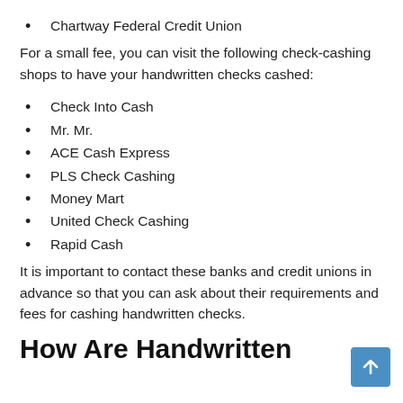Chartway Federal Credit Union
For a small fee, you can visit the following check-cashing shops to have your handwritten checks cashed:
Check Into Cash
Mr. Mr.
ACE Cash Express
PLS Check Cashing
Money Mart
United Check Cashing
Rapid Cash
It is important to contact these banks and credit unions in advance so that you can ask about their requirements and fees for cashing handwritten checks.
How Are Handwritten